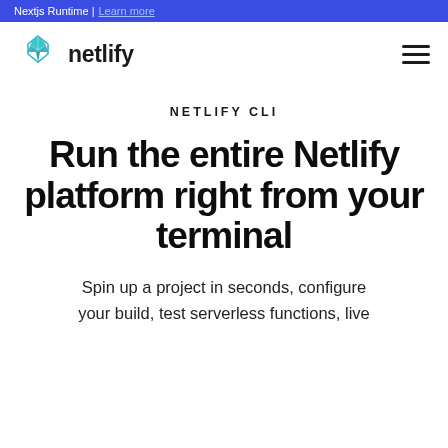Nextjs Runtime | Learn more
[Figure (logo): Netlify logo with teal geometric diamond icon and wordmark 'netlify' in bold black text]
NETLIFY CLI
Run the entire Netlify platform right from your terminal
Spin up a project in seconds, configure your build, test serverless functions, live